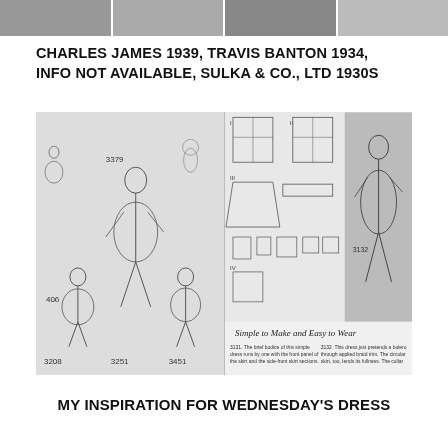[Figure (photo): Cropped top strip showing portions of four fashion photos]
CHARLES JAMES 1939, TRAVIS BANTON 1934, INFO NOT AVAILABLE, SULKA & CO., LTD 1930S
[Figure (illustration): Two vintage sewing pattern illustrations side by side. Left panel shows children's dress patterns numbered 406, 3379, 3208, 3251, 3451 with line drawings of children in dresses. Right panel shows a dress pattern numbered 3132 with construction diagrams labeled I, II, III, IV and a fashion illustration of a girl wearing the dress, with text 'Simple to Make and Easy to Wear' and pattern instructions below.]
MY INSPIRATION FOR WEDNESDAY'S DRESS